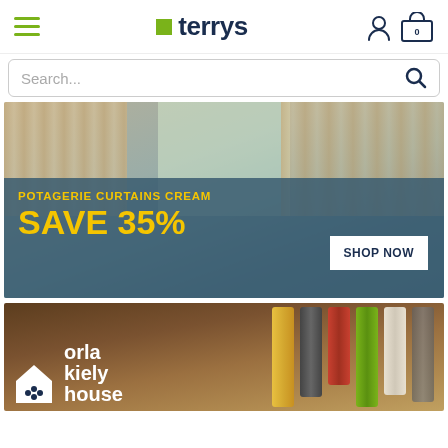terrys
Search...
[Figure (screenshot): Promotional banner showing floral Potagerie curtains in a living room setting with teal overlay. Text reads: POTAGERIE CURTAINS CREAM, SAVE 35%, SHOP NOW]
[Figure (screenshot): Banner showing Orla Kiely House branded curtains with multi-colored leaf pattern on wooden backdrop]